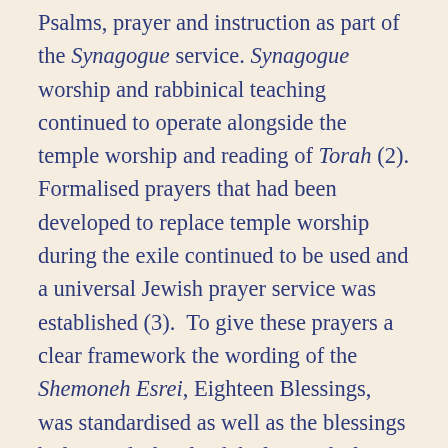Psalms, prayer and instruction as part of the Synagogue service. Synagogue worship and rabbinical teaching continued to operate alongside the temple worship and reading of Torah (2). Formalised prayers that had been developed to replace temple worship during the exile continued to be used and a universal Jewish prayer service was established (3).  To give these prayers a clear framework the wording of the Shemoneh Esrei, Eighteen Blessings, was standardised as well as the blessings before and after food, before and after performing a mitzvah (good deed done within a religious duty and keeping of the commandments), and before and after the Sabbath (Kiddush and Havdalah) (4).